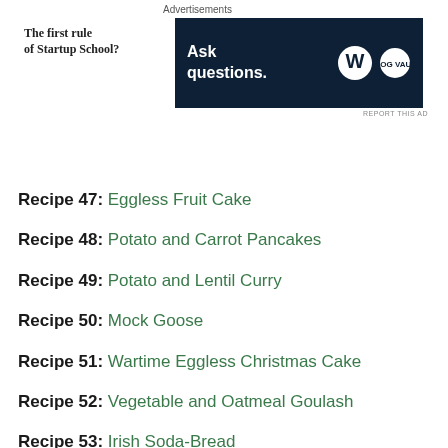[Figure (other): Advertisement banner with text 'The first rule of Startup School?' on the left and a dark navy banner on the right with 'Ask questions.' text and WordPress logo]
Recipe 47: Eggless Fruit Cake
Recipe 48: Potato and Carrot Pancakes
Recipe 49: Potato and Lentil Curry
Recipe 50: Mock Goose
Recipe 51: Wartime Eggless Christmas Cake
Recipe 52: Vegetable and Oatmeal Goulash
Recipe 53: Irish Soda-Bread
Recipe 54: Eggless Pancakes